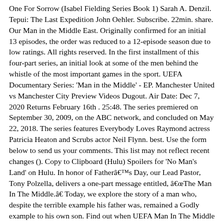One For Sorrow (Isabel Fielding Series Book 1) Sarah A. Denzil. Tepui: The Last Expedition John Oehler. Subscribe. 22min. share. Our Man in the Middle East. Originally confirmed for an initial 13 episodes, the order was reduced to a 12-episode season due to low ratings. All rights reserved. In the first installment of this four-part series, an initial look at some of the men behind the whistle of the most important games in the sport. UEFA Documentary Series: 'Man in the Middle' - EP. Manchester United vs Manchester City Preview Videos Dugout. Air Date: Dec 7, 2020 Returns February 16th . 25:48. The series premiered on September 30, 2009, on the ABC network, and concluded on May 22, 2018. The series features Everybody Loves Raymond actress Patricia Heaton and Scrubs actor Neil Flynn. best. Use the form below to send us your comments. This list may not reflect recent changes (). Copy to Clipboard (Hulu) Spoilers for 'No Man's Land' on Hulu. In honor of Fatherâs Day, our Lead Pastor, Tony Polzella, delivers a one-part message entitled, âThe Man In The Middle.â Today, we explore the story of a man who, despite the terrible example his father was, remained a Godly example to his own son. Find out when UEFA Man In The Middle is on TV, including Series 2020-Episode 3. This is another entry into the virus removal series I've slowly been working on. À la différence du Top 111 Séries, ce Top 100 des Tops 10 n'est pas basé sur la note SensCritique mais plutôt, comme son nom l'indique, sur vos propres Tops 10.Plus un titre est placé haut dans votre Top 10 Séries plus il obtient de points. With